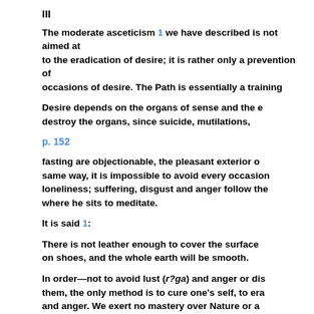III
The moderate asceticism 1 we have described is not aimed at to the eradication of desire; it is rather only a prevention of occasions of desire. The Path is essentially a training
Desire depends on the organs of sense and the e destroy the organs, since suicide, mutilations,
p. 152
fasting are objectionable, the pleasant exterior o same way, it is impossible to avoid every occasion loneliness; suffering, disgust and anger follow the where he sits to meditate.
It is said 1:
There is not leather enough to cover the surface on shoes, and the whole earth will be smooth.
In order—not to avoid lust (r?ga) and anger or dis them, the only method is to cure one's self, to era and anger. We exert no mastery over Nature or a